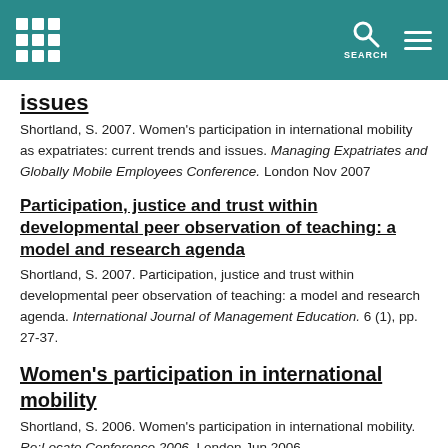SEARCH
issues
Shortland, S. 2007. Women's participation in international mobility as expatriates: current trends and issues. Managing Expatriates and Globally Mobile Employees Conference. London Nov 2007
Participation, justice and trust within developmental peer observation of teaching: a model and research agenda
Shortland, S. 2007. Participation, justice and trust within developmental peer observation of teaching: a model and research agenda. International Journal of Management Education. 6 (1), pp. 27-37.
Women's participation in international mobility
Shortland, S. 2006. Women's participation in international mobility. Re:Locate Conference 2006. London Jun 2006